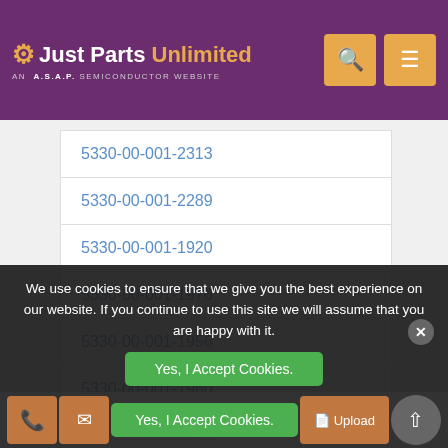Just Parts Unlimited — AN A.S.A.P SEMICONDUCTOR WEBSITE
| 5330-00-001-2313 |
| 5330-00-001-2289 |
| 5330-00-001-1920 |
| 5330-00-001-1976 |
| 5330-00-001-1956 |
| 5330-00-001-1960 |
| 5330-00-000-0085 |
| 5330-00-001-2287 |
We use cookies to ensure that we give you the best experience on our website. If you continue to use this site we will assume that you are happy with it.
Yes, I Accept Cookies.